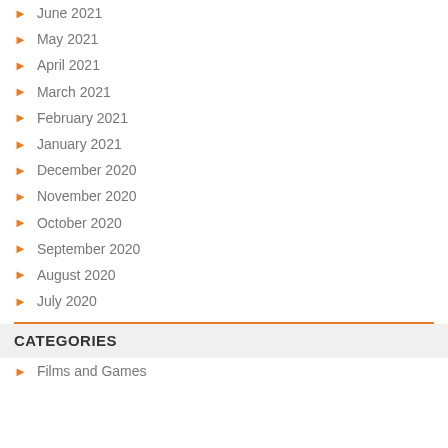June 2021
May 2021
April 2021
March 2021
February 2021
January 2021
December 2020
November 2020
October 2020
September 2020
August 2020
July 2020
CATEGORIES
Films and Games